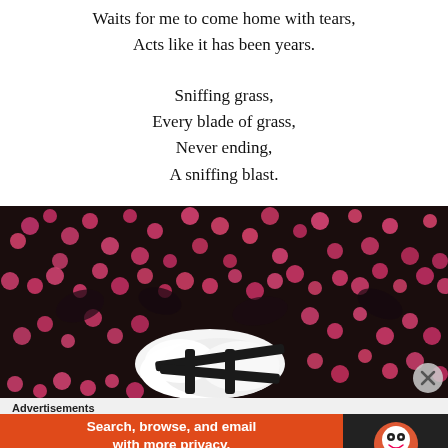Waits for me to come home with tears,
Acts like it has been years.
Sniffing grass,
Every blade of grass,
Never ending,
A sniffing blast.
[Figure (photo): A dog (white fur visible) sniffing through dark-leafed plants with pink/red flowers, viewed from above.]
Advertisements
[Figure (infographic): DuckDuckGo advertisement: orange background with text 'Search, browse, and email with more privacy. All in One Free App' and DuckDuckGo logo on dark background.]